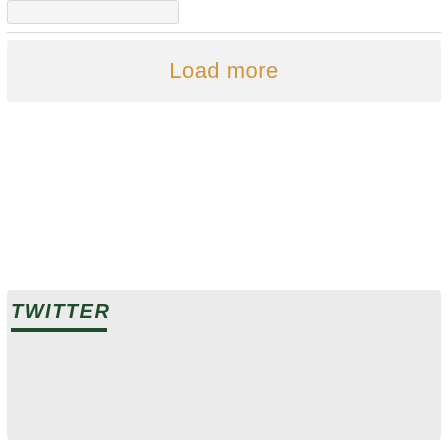[Figure (screenshot): Partial view of a card or widget element at the top of the page]
Load more
TWITTER